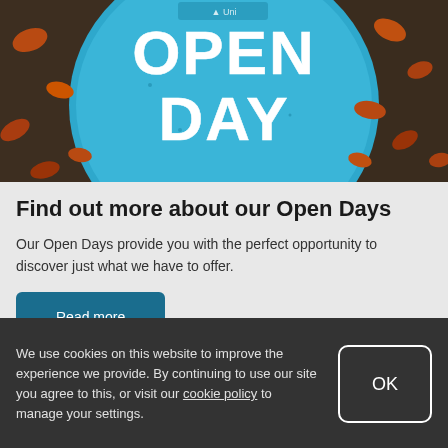[Figure (photo): A blue circular Open Day sign on the ground surrounded by fallen autumn leaves. The sign reads 'OPEN DAY' in large white letters.]
Find out more about our Open Days
Our Open Days provide you with the perfect opportunity to discover just what we have to offer.
Read more
We use cookies on this website to improve the experience we provide. By continuing to use our site you agree to this, or visit our cookie policy to manage your settings.